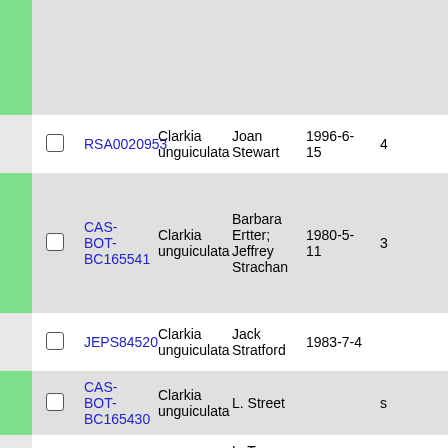|  |  | ID | Species | Collector | Date |  |
| --- | --- | --- | --- | --- | --- | --- |
|  |  |  |  |  |  |  |
|  |  | RSA0020953 | Clarkia unguiculata | Joan Stewart | 1996-6-15 | 4 |
|  |  | CAS-BOT-BC165541 | Clarkia unguiculata | Barbara Ertter; Jeffrey Strachan | 1980-5-11 | 3 |
|  |  | JEPS84520 | Clarkia unguiculata | Jack Stratford | 1983-7-4 |  |
|  |  | CAS-BOT-BC165430 | Clarkia unguiculata | L. Street |  | s |
|  |  | POM3154 | Clarkia | L. T. Street |  |  |